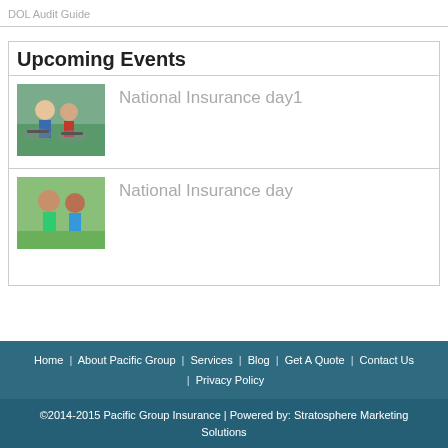DOL Audit Guide
Upcoming Events
[Figure (photo): Two people riding bicycles outdoors]
National Insurance day1
[Figure (photo): Young couple smiling outdoors]
National Insurance day
Home | About Pacific Group | Services | Blog | Get A Quote | Contact Us | Privacy Policy
©2014-2015 Pacific Group Insurance | Powered by: Stratosphere Marketing Solutions